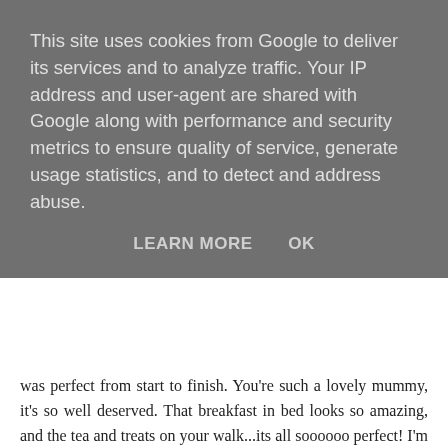This site uses cookies from Google to deliver its services and to analyze traffic. Your IP address and user-agent are shared with Google along with performance and security metrics to ensure quality of service, generate usage statistics, and to detect and address abuse.
LEARN MORE   OK
was perfect from start to finish. You're such a lovely mummy, it's so well deserved. That breakfast in bed looks so amazing, and the tea and treats on your walk...its all soooooo perfect! I'm glad you enjoyed your first mothers day. Your gifts are so beautiful. Here's to many more! Thank you so much for sharing your adventures with #whatevertheweather xx
Reply
Unknown  14 March 2016 at 09:34
Ah it looks like you had such a wonderful day, your presents look amazing. So sweet of hubby to recreate your fav breakfast. Thanks for linking up to #PointShoot (if you could add our badge or link back it would be fab, thanks) x